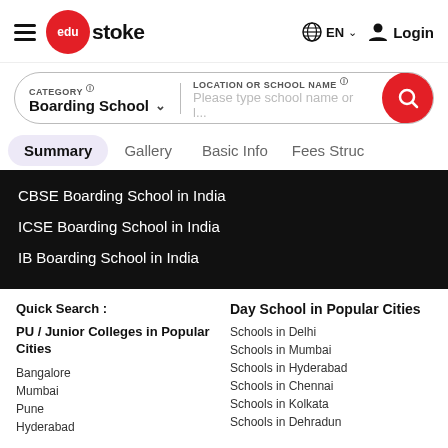[Figure (logo): Edustoke logo with red circle, hamburger menu, EN language selector and Login button]
[Figure (screenshot): Search bar with Category: Boarding School dropdown and Location or School Name input field with red search button]
Summary   Gallery   Basic Info   Fees Struc
CBSE Boarding School in India
ICSE Boarding School in India
IB Boarding School in India
Quick Search :
PU / Junior Colleges in Popular Cities
Bangalore
Mumbai
Pune
Hyderabad
Day School in Popular Cities
Schools in Delhi
Schools in Mumbai
Schools in Hyderabad
Schools in Chennai
Schools in Kolkata
Schools in Dehradun